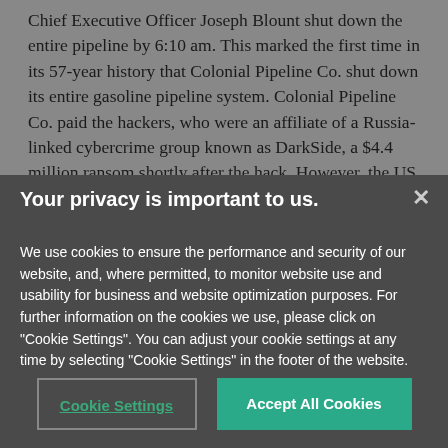Chief Executive Officer Joseph Blount shut down the entire pipeline by 6:10 am. This marked the first time in its 57-year history that Colonial Pipeline Co. shut down its entire gasoline pipeline system. Colonial Pipeline Co. paid the hackers, who were an affiliate of a Russia-linked cybercrime group known as DarkSide, a $4.4 million ransom shortly after the hack. However, the US Department of Justice
Your privacy is important to us.
We use cookies to ensure the performance and security of our website, and, where permitted, to monitor website use and usability for business and website optimization purposes. For further information on the cookies we use, please click on "Cookie Settings". You can adjust your cookie settings at any time by selecting "Cookie Settings" in the footer of the website.